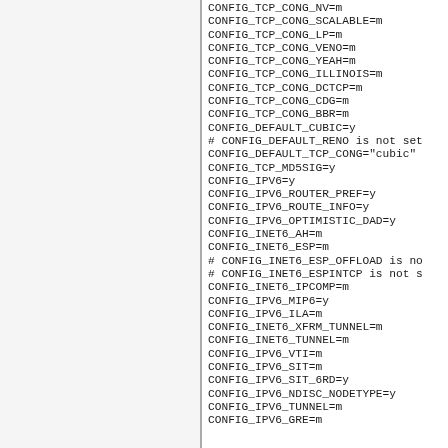CONFIG_TCP_CONG_NV=m
CONFIG_TCP_CONG_SCALABLE=m
CONFIG_TCP_CONG_LP=m
CONFIG_TCP_CONG_VENO=m
CONFIG_TCP_CONG_YEAH=m
CONFIG_TCP_CONG_ILLINOIS=m
CONFIG_TCP_CONG_DCTCP=m
CONFIG_TCP_CONG_CDG=m
CONFIG_TCP_CONG_BBR=m
CONFIG_DEFAULT_CUBIC=y
# CONFIG_DEFAULT_RENO is not set
CONFIG_DEFAULT_TCP_CONG="cubic"
CONFIG_TCP_MD5SIG=y
CONFIG_IPV6=y
CONFIG_IPV6_ROUTER_PREF=y
CONFIG_IPV6_ROUTE_INFO=y
CONFIG_IPV6_OPTIMISTIC_DAD=y
CONFIG_INET6_AH=m
CONFIG_INET6_ESP=m
# CONFIG_INET6_ESP_OFFLOAD is no
# CONFIG_INET6_ESPINTCP is not s
CONFIG_INET6_IPCOMP=m
CONFIG_IPV6_MIP6=y
CONFIG_IPV6_ILA=m
CONFIG_INET6_XFRM_TUNNEL=m
CONFIG_INET6_TUNNEL=m
CONFIG_IPV6_VTI=m
CONFIG_IPV6_SIT=m
CONFIG_IPV6_SIT_6RD=y
CONFIG_IPV6_NDISC_NODETYPE=y
CONFIG_IPV6_TUNNEL=m
CONFIG_IPV6_GRE=m